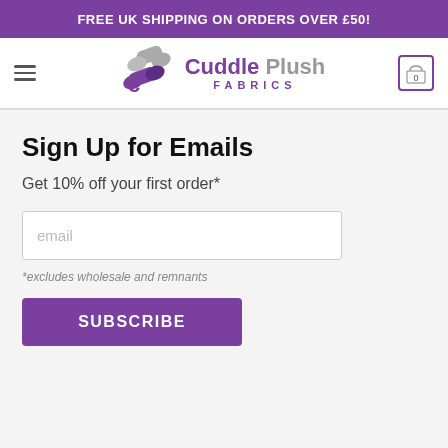FREE UK SHIPPING ON ORDERS OVER £50!
[Figure (logo): Cuddle Plush Fabrics logo with two fabric rolls (purple and grey) and shopping cart icon showing 0 items]
Sign Up for Emails
Get 10% off your first order*
*excludes wholesale and remnants
SUBSCRIBE